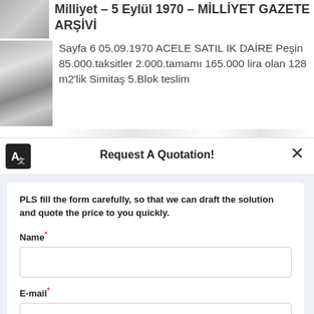[Figure (photo): Small thumbnail image of a newspaper page, grayscale]
Milliyet - 5 Eylül 1970 - MİLLİYET GAZETE ARŞİVİ
[Figure (photo): Larger thumbnail image of newspaper content, grayscale]
Sayfa 6 05.09.1970 ACELE SATIL IK DAİRE Peşin 85.000.taksitler 2.000.tamamı 165.000 lira olan 128 m2'lik Simitaş 5.Blok teslim
Request A Quotation!
PLS fill the form carefully, so that we can draft the solution and quote the price to you quickly.
Name*
E-mail*